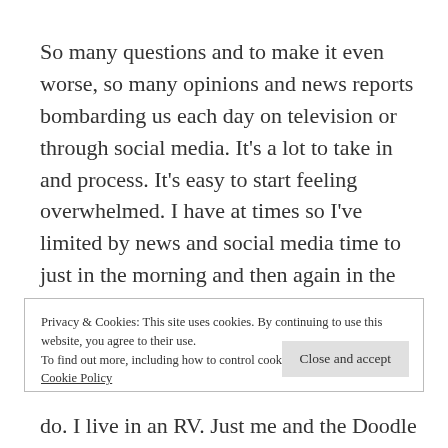So many questions and to make it even worse, so many opinions and news reports bombarding us each day on television or through social media. It’s a lot to take in and process. It’s easy to start feeling overwhelmed. I have at times so I’ve limited by news and social media time to just in the morning and then again in the early evening. And there’s the daily 2pm ‘Wine with DeWine’ press conference here in Ohio. I am
Privacy & Cookies: This site uses cookies. By continuing to use this website, you agree to their use.
To find out more, including how to control cookies, see here:
Cookie Policy
do. I live in an RV. Just me and the Doodle